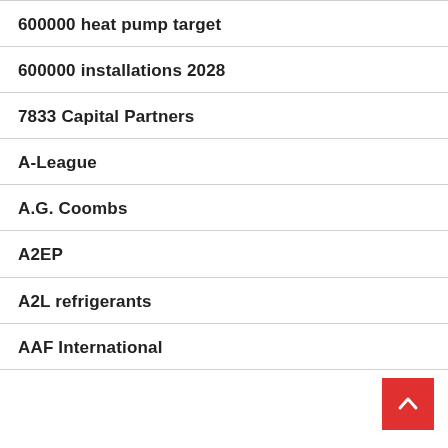600000 heat pump target
600000 installations 2028
7833 Capital Partners
A-League
A.G. Coombs
A2EP
A2L refrigerants
AAF International